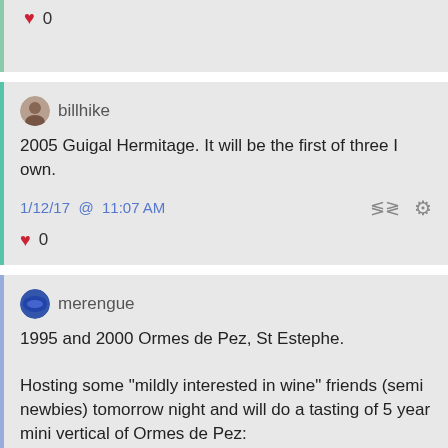♥ 0
billhike
2005 Guigal Hermitage. It will be the first of three I own.
1/12/17 @ 11:07 AM
♥ 0
merengue
1995 and 2000 Ormes de Pez, St Estephe.

Hosting some "mildly interested in wine" friends (semi newbies) tomorrow night and will do a tasting of 5 year mini vertical of Ormes de Pez: